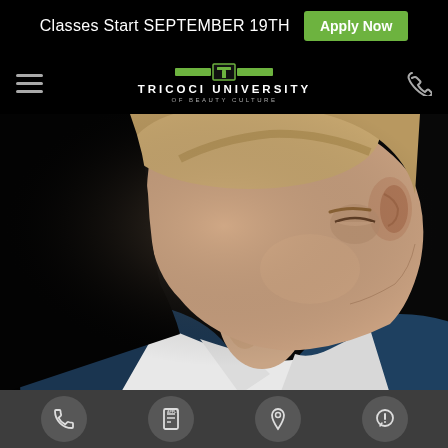Classes Start SEPTEMBER 19TH  Apply Now
[Figure (logo): Tricoci University of Beauty Culture logo with green accent bar and T mark]
[Figure (photo): Close-up profile photo of a young man in a blue blazer and white shirt against a dark background, showcasing grooming/beauty school styling]
Bottom navigation bar with icons: phone, apply, location, help/chat